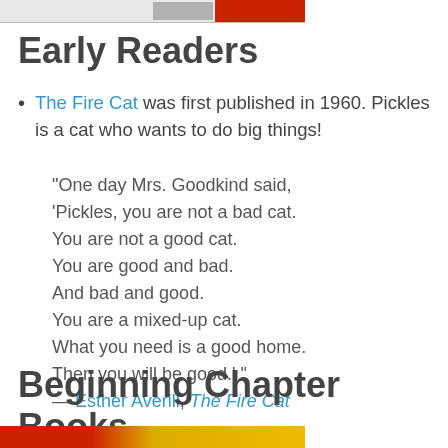[Figure (photo): Top portion of a book cover with red spine, partially visible]
Early Readers
The Fire Cat was first published in 1960. Pickles is a cat who wants to do big things!
“One day Mrs. Goodkind said, ‘Pickles, you are not a bad cat. You are not a good cat. You are good and bad. And bad and good. You are a mixed-up cat. What you need is a good home. Then you will be good.’ ” — Esther Averill, The Fire Cat
Beginning Chapter Books
[Figure (photo): Bottom portion of a book cover with red and yellow/gold colors]